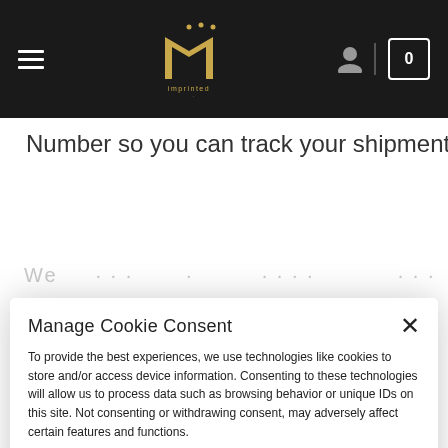[Figure (screenshot): Top navigation bar with hamburger menu, Imprinted Mansion logo, user icon, and cart with 0 items on dark background]
Number so you can track your shipment.
We ... ... ... ... for ...
Manage Cookie Consent
To provide the best experiences, we use technologies like cookies to store and/or access device information. Consenting to these technologies will allow us to process data such as browsing behavior or unique IDs on this site. Not consenting or withdrawing consent, may adversely affect certain features and functions.
UNDERSTOOD
VIEW PREFERENCES
Cookie Policy   Privacy Policy